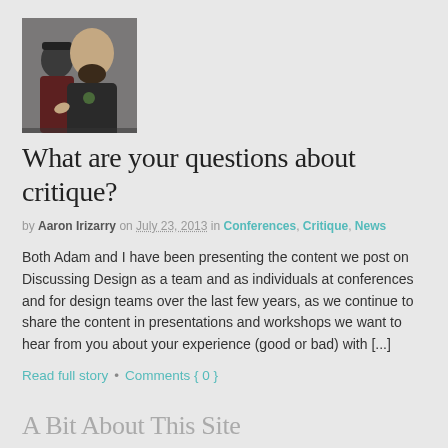[Figure (photo): Photo of two people, one bald with a beard gesturing, another in background wearing a cap and plaid shirt]
What are your questions about critique?
by Aaron Irizarry on July 23, 2013 in Conferences, Critique, News
Both Adam and I have been presenting the content we post on Discussing Design as a team and as individuals at conferences and for design teams over the last few years, as we continue to share the content in presentations and workshops we want to hear from you about your experience (good or bad) with [...]
Read full story • Comments { 0 }
A Bit About This Site